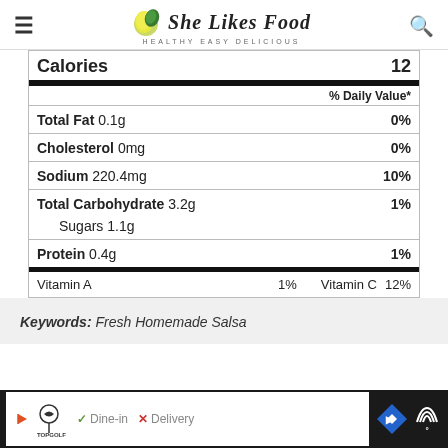She Likes Food — HEALTHY EASY DELICIOUS
| Nutrient | Amount | % Daily Value |
| --- | --- | --- |
| Calories |  | 12 |
| Total Fat | 0.1g | 0% |
| Cholesterol | 0mg | 0% |
| Sodium | 220.4mg | 10% |
| Total Carbohydrate | 3.2g | 1% |
| Sugars | 1.1g |  |
| Protein | 0.4g | 1% |
| Vitamin A | 1% | Vitamin C 12% |
Keywords: Fresh Homemade Salsa
[Figure (other): Advertisement bar: Topgolf logo, Dine-in checkmark, Delivery X mark, navigation arrow badge, wave icon]